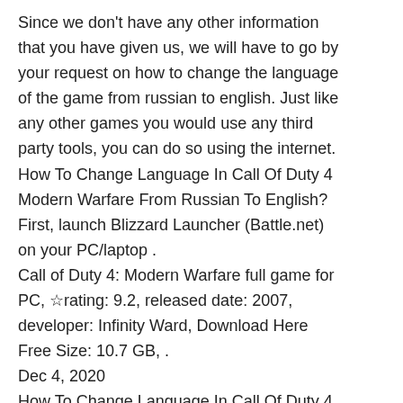Since we don't have any other information that you have given us, we will have to go by your request on how to change the language of the game from russian to english. Just like any other games you would use any third party tools, you can do so using the internet. How To Change Language In Call Of Duty 4 Modern Warfare From Russian To English? First, launch Blizzard Launcher (Battle.net) on your PC/laptop . Call of Duty 4: Modern Warfare full game for PC, ☆rating: 9.2, released date: 2007, developer: Infinity Ward, Download Here Free Size: 10.7 GB, . Dec 4, 2020 How To Change Language In Call Of Duty 4 Modern Warfare From Russian To English? First, launch Blizzard Launcher (Battle.net) on your PC/laptop . Call of Duty 4: Modern Warfare full game for PC, ☆rating: 9.2, released date: 2007, developer: Infinity Ward, Download Here